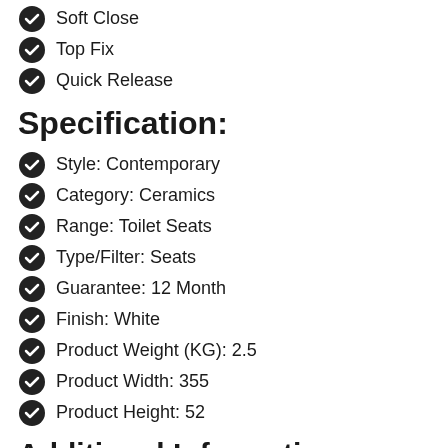Soft Close
Top Fix
Quick Release
Specification:
Style: Contemporary
Category: Ceramics
Range: Toilet Seats
Type/Filter: Seats
Guarantee: 12 Month
Finish: White
Product Weight (KG): 2.5
Product Width: 355
Product Height: 52
Additional Information:
SKU: NCH198
UPC: 5060272825744